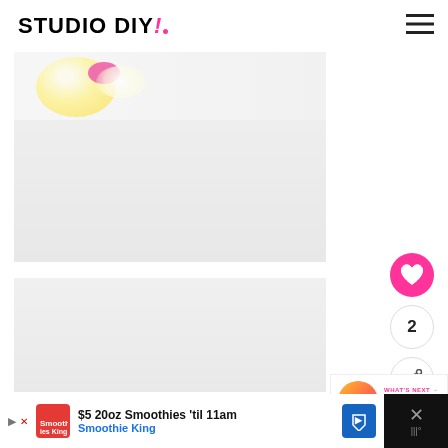STUDIO DIY!
[Figure (photo): Top portion of a balloon with pink spots and a yellow balloon against a light background, bright white glow in center]
[Figure (photo): Lower portion of the balloon photo, mostly light gray/white background]
[Figure (illustration): Pink heart icon button]
2
[Figure (illustration): Share icon button]
WHAT'S NEXT → DIY Emoji Gift Wrap
[Figure (photo): Thumbnail of DIY Emoji Gift Wrap with cartoon emoji characters]
[Figure (infographic): Advertisement bar: $5 20oz Smoothies 'til 11am - Smoothie King]